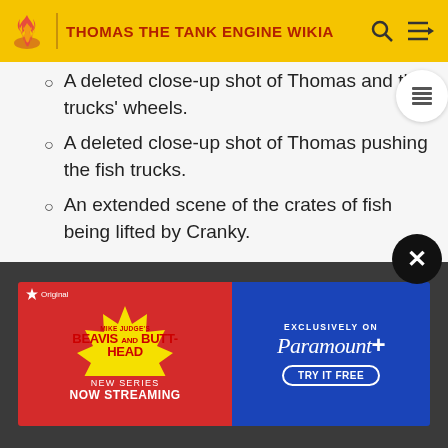THOMAS THE TANK ENGINE WIKIA
A deleted close-up shot of Thomas and the trucks' wheels.
A deleted close-up shot of Thomas pushing the fish trucks.
An extended scene of the crates of fish being lifted by Cranky.
Percy and the Magic Carpet - A deleted scene of Percy passing the windmill.
[Figure (screenshot): Advertisement banner for Mike Judge's Beavis and Butt-Head new series on Paramount+, showing 'Exclusively on Paramount+ Try It Free' with red/blue background and starburst logo.]